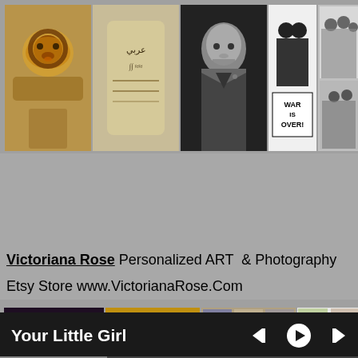[Figure (photo): Top strip of 5 photos: Lion King cup with tattoo art, decorative Arabic-script tattoo on cup, black-and-white Freud portrait, War Is Over poster with two people, black-and-white group photo collage]
Victoriana Rose Personalized ART  & Photography

Etsy Store www.VictorianaRose.Com
[Figure (screenshot): Bottom strip of images showing Etsy store: vintage black-and-white photo of two women with speech bubbles, close-up of tiger/cat eyes in gold tones, grid of various art prints, grid of Etsy store product listings]
Your Little Girl